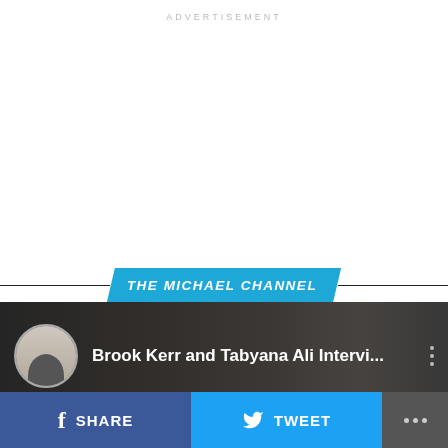ADVERTISEMENT
[Figure (other): Advertisement whitespace placeholder]
THE MICHAEL CHANNEL
[Figure (screenshot): YouTube video thumbnail showing 'Brook Kerr and Tabyana Ali Intervi...' with channel avatar on dark background]
SHARE
TWEET